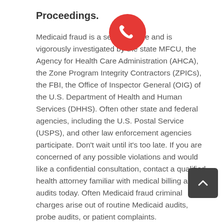Proceedings.
Medicaid fraud is a serious crime and is vigorously investigated by the state MFCU, the Agency for Health Care Administration (AHCA), the Zone Program Integrity Contractors (ZPICs), the FBI, the Office of Inspector General (OIG) of the U.S. Department of Health and Human Services (DHHS). Often other state and federal agencies, including the U.S. Postal Service (USPS), and other law enforcement agencies participate. Don't wait until it's too late. If you are concerned of any possible violations and would like a confidential consultation, contact a qualified health attorney familiar with medical billing and audits today. Often Medicaid fraud criminal charges arise out of routine Medicaid audits, probe audits, or patient complaints.
[Figure (illustration): Red circular phone call button overlay]
[Figure (illustration): Dark gray scroll-to-top button with upward chevron]
The Health Law Firm's attorneys routinely represent physicians, dentists, orthodontists, medical groups,